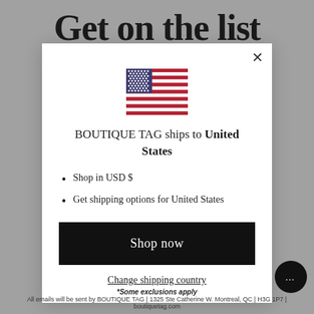Get on the list
[Figure (illustration): US flag SVG inline illustration]
BOUTIQUE TAG ships to United States
Shop in USD $
Get shipping options for United States
Shop now
Change shipping country
*Some exclusions apply
All emails will be sent by BOUTIQUE TAG | 1325 Ste Catherine W. Montreal, QC | H3G 1P7 | boutiquetag.com